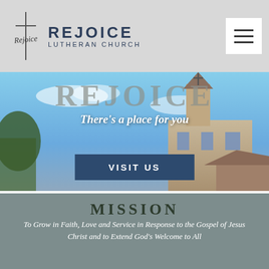REJOICE LUTHERAN CHURCH
[Figure (photo): Rejoice Lutheran Church exterior photo with church steeple against blue sky, overlaid with large 'REJOICE' text and tagline 'There's a place for you', plus a 'VISIT US' button]
MISSION
To Grow in Faith, Love and Service in Response to the Gospel of Jesus Christ and to Extend God's Welcome to All